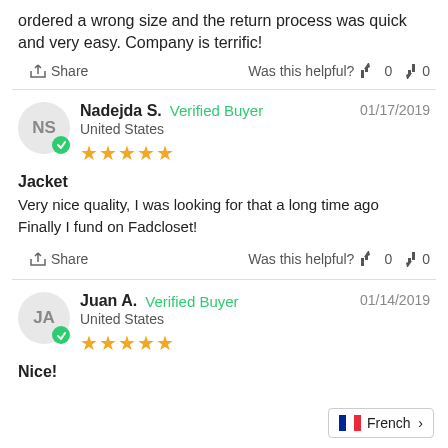ordered a wrong size and the return process was quick and very easy. Company is terrific!
Share   Was this helpful?  0  0
Nadejda S.  Verified Buyer  01/17/2019
United States
★★★★★
Jacket
Very nice quality, I was looking for that a long time ago Finally I fund on Fadcloset!
Share   Was this helpful?  0  0
Juan A.  Verified Buyer  01/14/2019
United States
★★★★★
Nice!